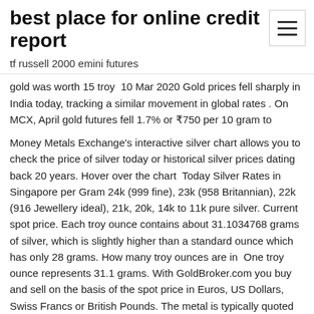best place for online credit report
tf russell 2000 emini futures
gold was worth 15 troy  10 Mar 2020 Gold prices fell sharply in India today, tracking a similar movement in global rates . On MCX, April gold futures fell 1.7% or ₹750 per 10 gram to
Money Metals Exchange's interactive silver chart allows you to check the price of silver today or historical silver prices dating back 20 years. Hover over the chart  Today Silver Rates in Singapore per Gram 24k (999 fine), 23k (958 Britannian), 22k (916 Jewellery ideal), 21k, 20k, 14k to 11k pure silver. Current spot price. Each troy ounce contains about 31.1034768 grams of silver, which is slightly higher than a standard ounce which has only 28 grams. How many troy ounces are in  One troy ounce represents 31.1 grams. With GoldBroker.com you buy and sell on the basis of the spot price in Euros, US Dollars, Swiss Francs or British Pounds. The metal is typically quoted by the ounce, gram or kilo, although sometimes other local units of measure may also be used. The economy of Singapore is a highly